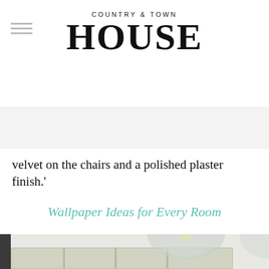COUNTRY & TOWN HOUSE
velvet on the chairs and a polished plaster finish.'
Wallpaper Ideas for Every Room
[Figure (photo): Kitchen interior with glass-fronted cabinets displaying white crockery and a large glass pendant light hanging from the ceiling]